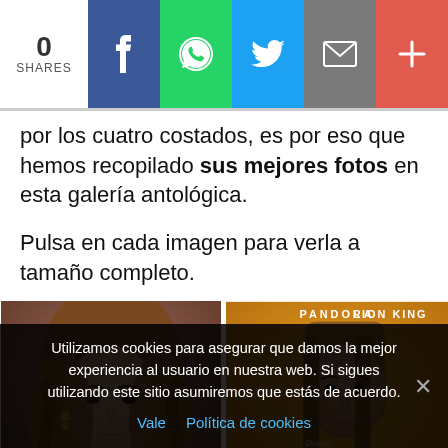0 SHARES | Facebook | WhatsApp | Twitter | Email | +
por los cuatro costados, es por eso que hemos recopilado sus mejores fotos en esta galería antológica.
Pulsa en cada imagen para verla a tamaño completo.
[Figure (photo): Two photos of a celebrity: left photo shows woman with wavy auburn hair in dark red outfit; right photo shows woman with straight brown hair at Lion King premiere with Pandora branding on orange background]
Utilizamos cookies para asegurar que damos la mejor experiencia al usuario en nuestra web. Si sigues utilizando este sitio asumiremos que estás de acuerdo.